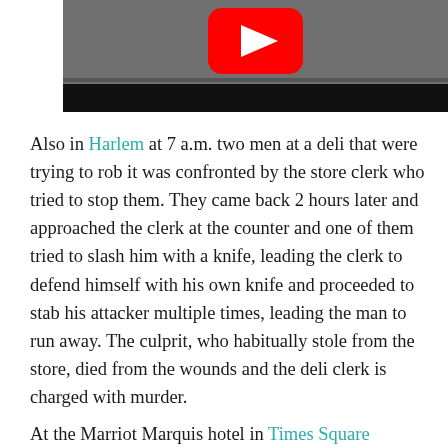[Figure (screenshot): Partial YouTube video thumbnail showing a grayscale scene with a red YouTube play button icon, and a black bar at the bottom.]
Also in Harlem at 7 a.m. two men at a deli that were trying to rob it was confronted by the store clerk who tried to stop them. They came back 2 hours later and approached the clerk at the counter and one of them tried to slash him with a knife, leading the clerk to defend himself with his own knife and proceeded to stab his attacker multiple times, leading the man to run away. The culprit, who habitually stole from the store, died from the wounds and the deli clerk is charged with murder.
At the Marriot Marquis hotel in Times Square